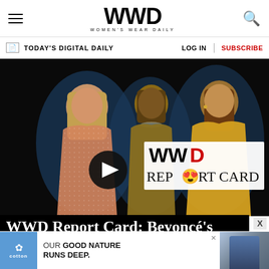WWD WOMEN'S WEAR DAILY
TODAY'S DIGITAL DAILY    LOG IN  |  SUBSCRIBE
[Figure (photo): Three women in formal/gown attire against a dark background with WWD Report Card overlay logo and play button. The image promotes the WWD Report Card video series.]
WWD Report Card: Beyoncé's Fashion
[Figure (other): Advertisement banner for Cotton featuring 'OUR GOOD NATURE RUNS DEEP.' tagline with cotton logo on blue background and denim clothing image on right.]